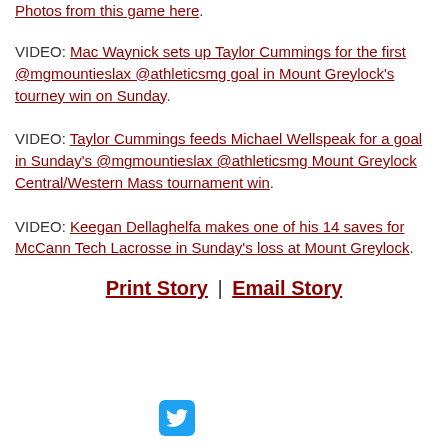Photos from this game here.
VIDEO: Mac Waynick sets up Taylor Cummings for the first @mgmountieslax @athleticsmg goal in Mount Greylock's tourney win on Sunday.
VIDEO: Taylor Cummings feeds Michael Wellspeak for a goal in Sunday's @mgmountieslax @athleticsmg Mount Greylock Central/Western Mass tournament win.
VIDEO: Keegan Dellaghelfa makes one of his 14 saves for McCann Tech Lacrosse in Sunday's loss at Mount Greylock.
Print Story | Email Story
[Figure (logo): Twitter bird icon in blue rounded square]